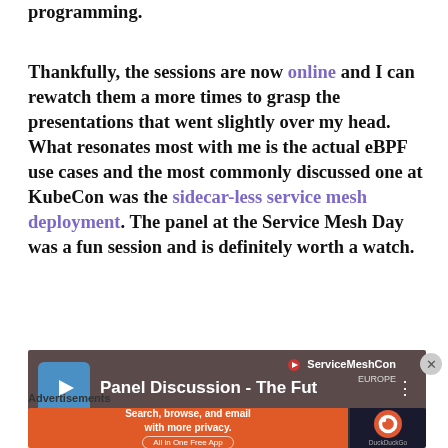programming.
Thankfully, the sessions are now online and I can rewatch them a more times to grasp the presentations that went slightly over my head. What resonates most with me is the actual eBPF use cases and the most commonly discussed one at KubeCon was the sidecar-less service mesh deployment. The panel at the Service Mesh Day was a fun session and is definitely worth a watch.
[Figure (screenshot): Video thumbnail showing 'Panel Discussion - The Fut...' with ServiceMeshCon Europe branding on a dark brownish background, with a blue channel icon on the left.]
Advertisements
[Figure (screenshot): DuckDuckGo advertisement banner: 'Search, browse, and email with more privacy. All in One Free App' on orange background with DuckDuckGo logo on dark right side.]